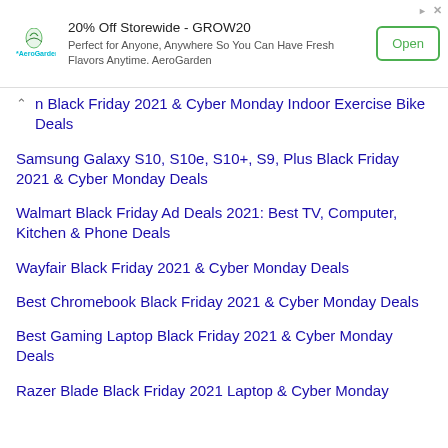[Figure (screenshot): AeroGarden advertisement banner with logo, headline '20% Off Storewide - GROW20', subtext 'Perfect for Anyone, Anywhere So You Can Have Fresh Flavors Anytime. AeroGarden', and an 'Open' button]
on Black Friday 2021 & Cyber Monday Indoor Exercise Bike Deals
Samsung Galaxy S10, S10e, S10+, S9, Plus Black Friday 2021 & Cyber Monday Deals
Walmart Black Friday Ad Deals 2021: Best TV, Computer, Kitchen & Phone Deals
Wayfair Black Friday 2021 & Cyber Monday Deals
Best Chromebook Black Friday 2021 & Cyber Monday Deals
Best Gaming Laptop Black Friday 2021 & Cyber Monday Deals
Razer Blade Black Friday 2021 Laptop & Cyber Monday